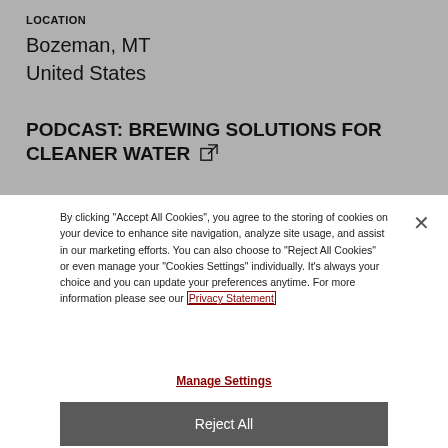LOCATION
Bozeman, MT
United States
PODCAST: BREWING SOLUTIONS FOR CLEANER WATER
By clicking "Accept All Cookies", you agree to the storing of cookies on your device to enhance site navigation, analyze site usage, and assist in our marketing efforts. You can also choose to "Reject All Cookies" or even manage your "Cookies Settings" individually. It's always your choice and you can update your preferences anytime. For more information please see our Privacy Statement
Manage Settings
Reject All